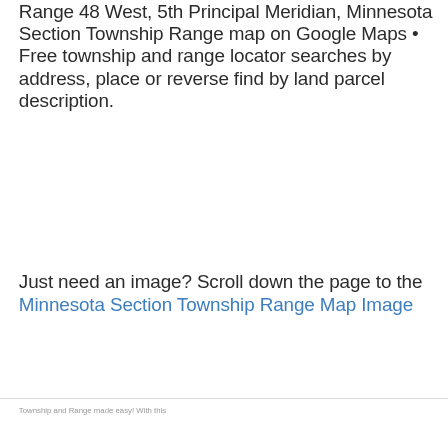Range 48 West, 5th Principal Meridian, Minnesota Section Township Range map on Google Maps • Free township and range locator searches by address, place or reverse find by land parcel description.
Just need an image? Scroll down the page to the Minnesota Section Township Range Map Image
Township and Range made easy! With this